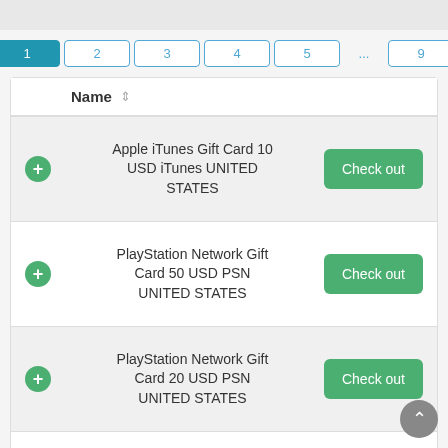[Figure (screenshot): Top gray bar]
Pagination: Previous | 1 | 2 | 3 | 4 | 5 | ... | 9 | Next
| Name |  |
| --- | --- |
| Apple iTunes Gift Card 10 USD iTunes UNITED STATES | Check out |
| PlayStation Network Gift Card 50 USD PSN UNITED STATES | Check out |
| PlayStation Network Gift Card 20 USD PSN UNITED STATES | Check out |
| Apple iTunes Gift Card 25 USD iTunes NORTH | Check out |